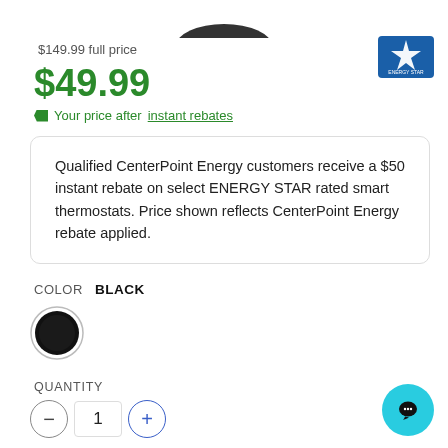[Figure (photo): Partial bottom of a smart thermostat product image cropped at top of page]
$149.99 full price
[Figure (logo): ENERGY STAR certified badge logo in blue]
$49.99
Your price after instant rebates
Qualified CenterPoint Energy customers receive a $50 instant rebate on select ENERGY STAR rated smart thermostats. Price shown reflects CenterPoint Energy rebate applied.
COLOR  BLACK
[Figure (illustration): Black circular color swatch with white ring border, indicating the selected color BLACK]
QUANTITY
- 1 +